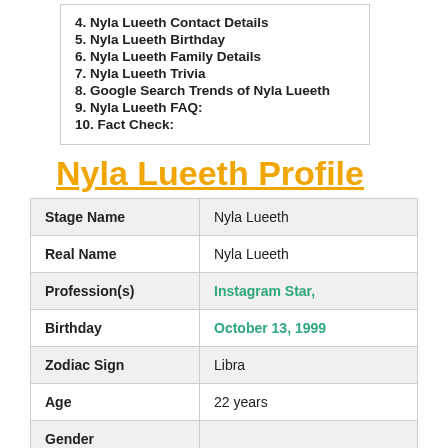4. Nyla Lueeth Contact Details
5. Nyla Lueeth Birthday
6. Nyla Lueeth Family Details
7. Nyla Lueeth Trivia
8. Google Search Trends of Nyla Lueeth
9. Nyla Lueeth FAQ:
10. Fact Check:
Nyla Lueeth Profile
|  |  |
| --- | --- |
| Stage Name | Nyla Lueeth |
| Real Name | Nyla Lueeth |
| Profession(s) | Instagram Star, |
| Birthday | October 13, 1999 |
| Zodiac Sign | Libra |
| Age | 22 years |
| Gender |  |